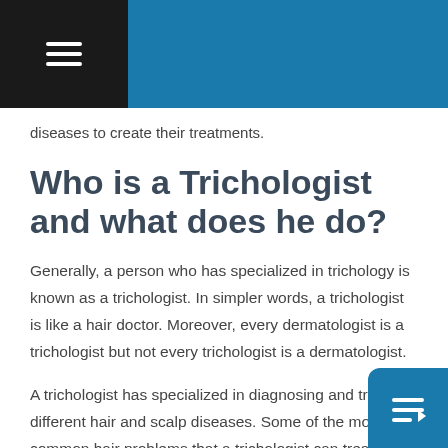diseases to create their treatments.
Who is a Trichologist and what does he do?
Generally, a person who has specialized in trichology is known as a trichologist. In simpler words, a trichologist is like a hair doctor. Moreover, every dermatologist is a trichologist but not every trichologist is a dermatologist.
A trichologist has specialized in diagnosing and treating different hair and scalp diseases. Some of the most common hair problems that a trichologist can treat are